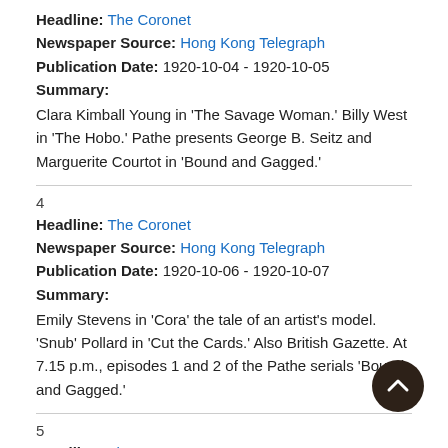Headline: The Coronet
Newspaper Source: Hong Kong Telegraph
Publication Date: 1920-10-04 - 1920-10-05
Summary:
Clara Kimball Young in 'The Savage Woman.' Billy West in 'The Hobo.' Pathe presents George B. Seitz and Marguerite Courtot in 'Bound and Gagged.'
4
Headline: The Coronet
Newspaper Source: Hong Kong Telegraph
Publication Date: 1920-10-06 - 1920-10-07
Summary:
Emily Stevens in 'Cora' the tale of an artist's model. 'Snub' Pollard in 'Cut the Cards.' Also British Gazette. At 7.15 p.m., episodes 1 and 2 of the Pathe serials 'Bound and Gagged.'
5
Headline: The Coronet
Newspaper Source: Hong Kong Telegraph
Publication Date: 1920-10-08 - 1920-10-09